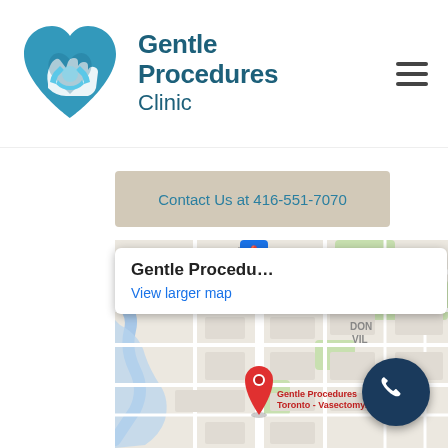[Figure (logo): Gentle Procedures Clinic logo with heart-shaped hands icon in teal/blue colors]
Gentle Procedures Clinic
Contact Us at 416-551-7070
[Figure (map): Google Maps embed showing location of Gentle Procedures Toronto - Vasectomy clinic in Don Mills area with red pin marker]
Gentle Procedu...
View larger map